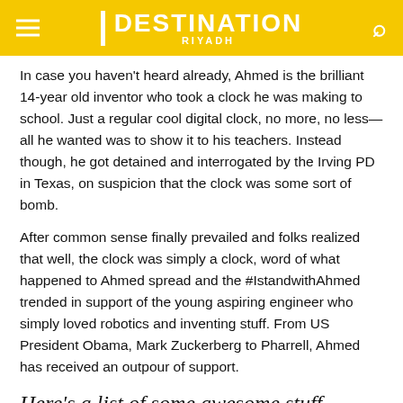DESTINATION RIYADH
In case you haven't heard already, Ahmed is the brilliant 14-year old inventor who took a clock he was making to school. Just a regular cool digital clock, no more, no less— all he wanted was to show it to his teachers. Instead though, he got detained and interrogated by the Irving PD in Texas, on suspicion that the clock was some sort of bomb.
After common sense finally prevailed and folks realized that well, the clock was simply a clock, word of what happened to Ahmed spread and the #IstandwithAhmed trended in support of the young aspiring engineer who simply loved robotics and inventing stuff. From US President Obama, Mark Zuckerberg to Pharrell, Ahmed has received an outpour of support.
Here's a list of some awesome stuff Muslim inventors, innovators and scientists have